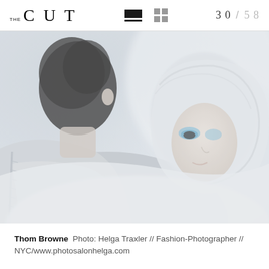THE CUT  30 / 58
[Figure (photo): Close-up fashion photograph of two models wearing Thom Browne designs, featuring pale/washed-out tones, one model showing blue eye makeup and a hooded garment, another in a textured tweed or embellished jacket with zipper detail. Photo by Helga Traxler.]
Thom Browne  Photo: Helga Traxler // Fashion-Photographer // NYC/www.photosalonhelga.com